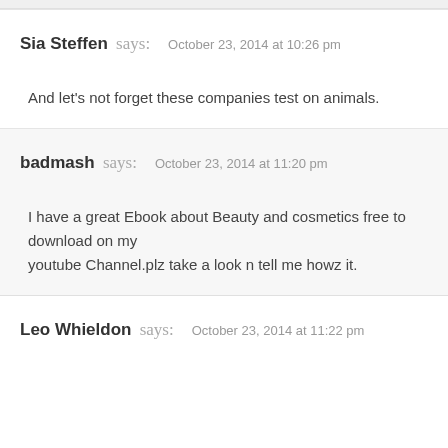Sia Steffen says: October 23, 2014 at 10:26 pm
And let's not forget these companies test on animals.
badmash says: October 23, 2014 at 11:20 pm
I have a great Ebook about Beauty and cosmetics free to download on my youtube Channel.plz take a look n tell me howz it.
Leo Whieldon says: October 23, 2014 at 11:22 pm